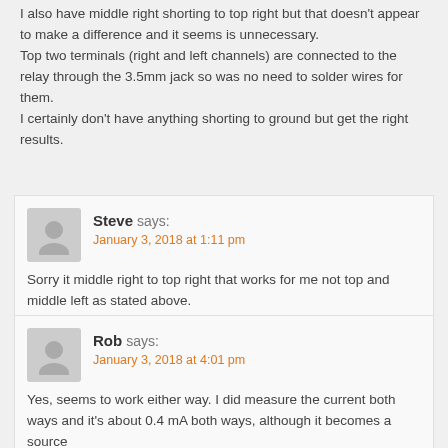I also have middle right shorting to top right but that doesn't appear to make a difference and it seems is unnecessary.
Top two terminals (right and left channels) are connected to the relay through the 3.5mm jack so was no need to solder wires for them.
I certainly don't have anything shorting to ground but get the right results.
Steve says:
January 3, 2018 at 1:11 pm
Sorry it middle right to top right that works for me not top and middle left as stated above.
Rob says:
January 3, 2018 at 4:01 pm
Yes, seems to work either way. I did measure the current both ways and it's about 0.4 mA both ways, although it becomes a source